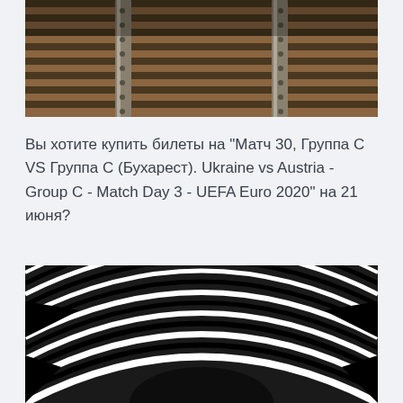[Figure (photo): Close-up photo of railway tracks from above, showing wooden sleepers and metal rails with bolts, warm brown tones.]
Вы хотите купить билеты на "Матч 30, Группа C VS Группа C (Бухарест). Ukraine vs Austria - Group C - Match Day 3 - UEFA Euro 2020" на 21 июня?
[Figure (photo): Black and white abstract photo of a curved architectural structure with repeating striped pattern creating an optical illusion tunnel effect.]